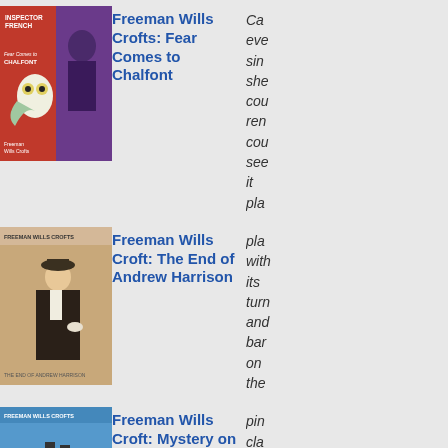[Figure (illustration): Book cover: Inspector French Fear Comes to Chalfont by Freeman Wills Crofts - red and purple cover with owl and man in suit]
Freeman Wills Crofts: Fear Comes to Chalfont
Ca... eve... sin... she... cou... ren... cou... see... it pla... with... its turn... and bar... on the pin... cla... mo... hei... wra... in its...
[Figure (illustration): Book cover: Freeman Wills Crofts The End of Andrew Harrison - art deco style man in hat and coat]
Freeman Wills Croft: The End of Andrew Harrison
[Figure (illustration): Book cover: Freeman Wills Crofts Mystery on - blue and red cover with ocean liner ship]
Freeman Wills Croft: Mystery on